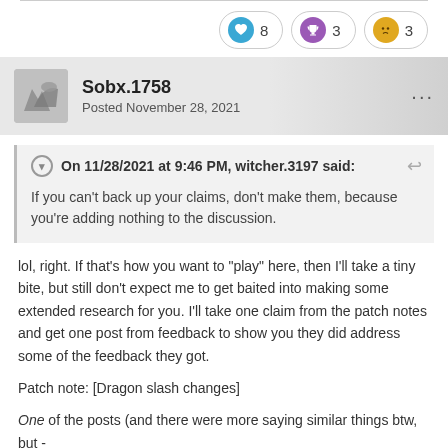[Figure (infographic): Reaction bar with three reaction pills: heart icon with count 8, trophy icon with count 3, confused face icon with count 3]
Sobx.1758
Posted November 28, 2021
On 11/28/2021 at 9:46 PM, witcher.3197 said:
If you can't back up your claims, don't make them, because you're adding nothing to the discussion.
lol, right. If that's how you want to "play" here, then I'll take a tiny bite, but still don't expect me to get baited into making some extended research for you. I'll take one claim from the patch notes and get one post from feedback to show you they did address some of the feedback they got.
Patch note: [Dragon slash changes]
One of the posts (and there were more saying similar things btw, but -